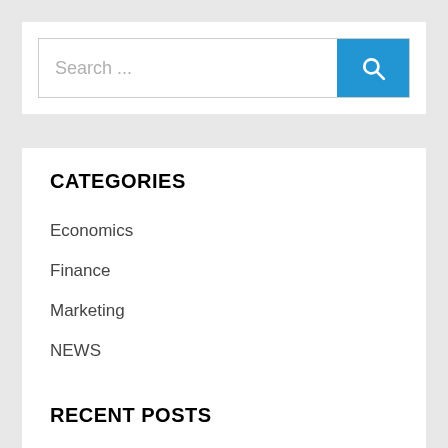Search ...
CATEGORIES
Economics
Finance
Marketing
NEWS
Success Tips
RECENT POSTS